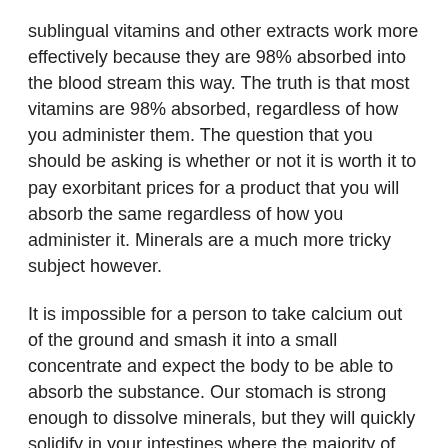sublingual vitamins and other extracts work more effectively because they are 98% absorbed into the blood stream this way. The truth is that most vitamins are 98% absorbed, regardless of how you administer them. The question that you should be asking is whether or not it is worth it to pay exorbitant prices for a product that you will absorb the same regardless of how you administer it. Minerals are a much more tricky subject however.
It is impossible for a person to take calcium out of the ground and smash it into a small concentrate and expect the body to be able to absorb the substance. Our stomach is strong enough to dissolve minerals, but they will quickly solidify in your intestines where the majority of mineral absorption will take place. So why are we able to get those minerals when we eat certain plants/vegetables? We can process minerals inside